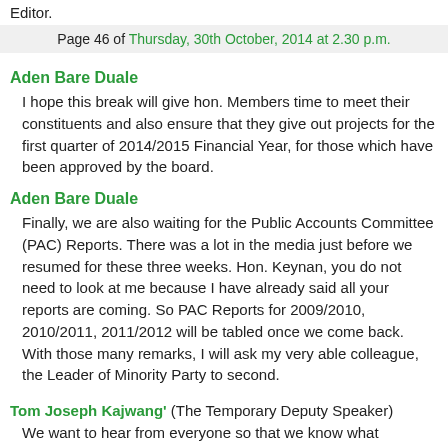Editor.
Page 46 of Thursday, 30th October, 2014 at 2.30 p.m.
Aden Bare Duale
I hope this break will give hon. Members time to meet their constituents and also ensure that they give out projects for the first quarter of 2014/2015 Financial Year, for those which have been approved by the board.
Aden Bare Duale
Finally, we are also waiting for the Public Accounts Committee (PAC) Reports. There was a lot in the media just before we resumed for these three weeks. Hon. Keynan, you do not need to look at me because I have already said all your reports are coming. So PAC Reports for 2009/2010, 2010/2011, 2011/2012 will be tabled once we come back. With those many remarks, I will ask my very able colleague, the Leader of Minority Party to second.
Tom Joseph Kajwang' (The Temporary Deputy Speaker) We want to hear from everyone so that we know what everyone has. Any Member from the House Business Committee can second this.